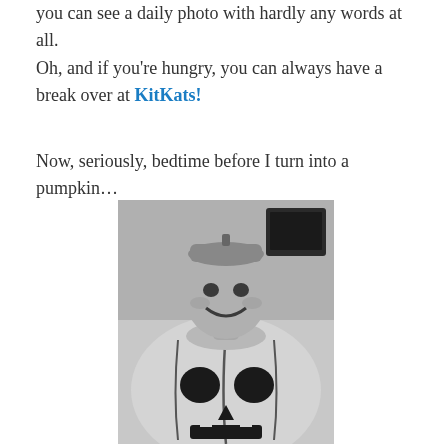you can see a daily photo with hardly any words at all.
Oh, and if you're hungry, you can always have a break over at KitKats!
Now, seriously, bedtime before I turn into a pumpkin…
[Figure (photo): Black and white photo of a smiling woman wearing a pumpkin jack-o-lantern Halloween costume.]